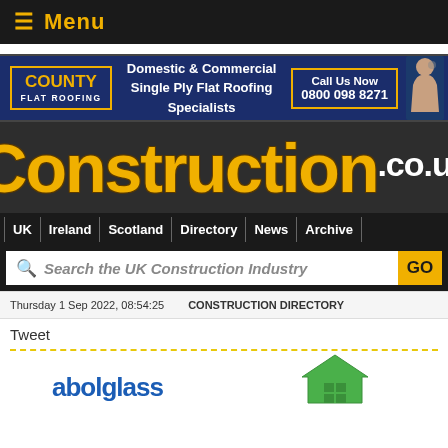≡ Menu
[Figure (logo): County Flat Roofing advertisement banner: 'COUNTY FLAT ROOFING — Domestic & Commercial Single Ply Flat Roofing Specialists — Call Us Now 0800 098 8271']
Construction.co.uk
UK | Ireland | Scotland | Directory | News | Archive
Search the UK Construction Industry GO
Thursday 1 Sep 2022, 08:54:25   CONSTRUCTION DIRECTORY
Tweet
[Figure (logo): abolglass logo with green house icon]